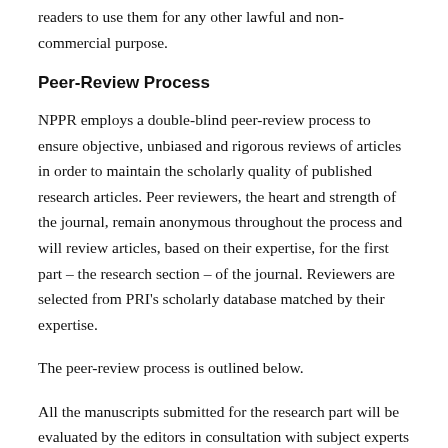readers to use them for any other lawful and non-commercial purpose.
Peer-Review Process
NPPR employs a double-blind peer-review process to ensure objective, unbiased and rigorous reviews of articles in order to maintain the scholarly quality of published research articles. Peer reviewers, the heart and strength of the journal, remain anonymous throughout the process and will review articles, based on their expertise, for the first part – the research section – of the journal. Reviewers are selected from PRI's scholarly database matched by their expertise.
The peer-review process is outlined below.
All the manuscripts submitted for the research part will be evaluated by the editors in consultation with subject experts without disclosing the author's identity. The manuscripts